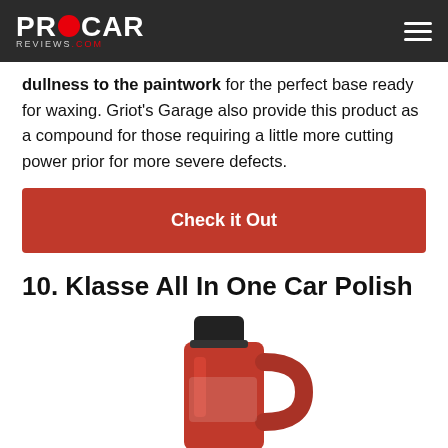PROCAR REVIEWS.COM
dullness to the paintwork for the perfect base ready for waxing. Griot's Garage also provide this product as a compound for those requiring a little more cutting power prior for more severe defects.
Check it Out
10. Klasse All In One Car Polish
[Figure (photo): Red plastic jug/bottle of Klasse All In One Car Polish with a black cap]